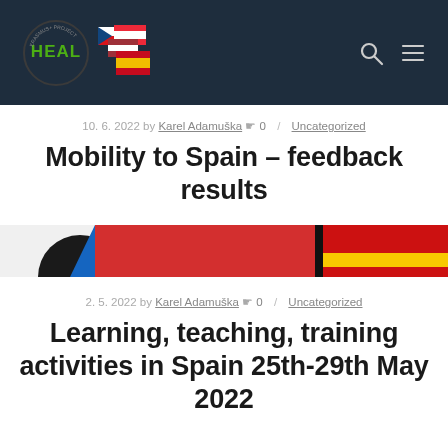HEAL — website header with logo and navigation icons
10. 6. 2022 by Karel Adamuška 0 / Uncategorized
Mobility to Spain – feedback results
[Figure (photo): Decorative image strip showing abstract colored stripes — red, black, yellow on right side and blue/white on left side, resembling flag colors]
2. 5. 2022 by Karel Adamuška 0 / Uncategorized
Learning, teaching, training activities in Spain 25th-29th May 2022